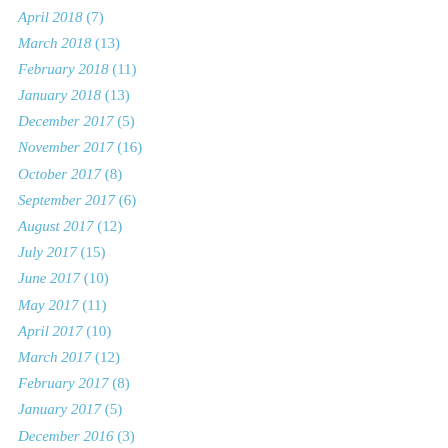April 2018 (7)
March 2018 (13)
February 2018 (11)
January 2018 (13)
December 2017 (5)
November 2017 (16)
October 2017 (8)
September 2017 (6)
August 2017 (12)
July 2017 (15)
June 2017 (10)
May 2017 (11)
April 2017 (10)
March 2017 (12)
February 2017 (8)
January 2017 (5)
December 2016 (3)
November 2016 (7)
October 2016 (7)
September 2016 (15)